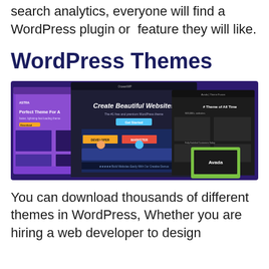search analytics, everyone will find a WordPress plugin or feature they will like.
WordPress Themes
[Figure (screenshot): A collage of WordPress theme websites including Astra, OceanWP, and Avada displayed on browser mockups against a dark purple background.]
You can download thousands of different themes in WordPress, Whether you are hiring a web developer to design